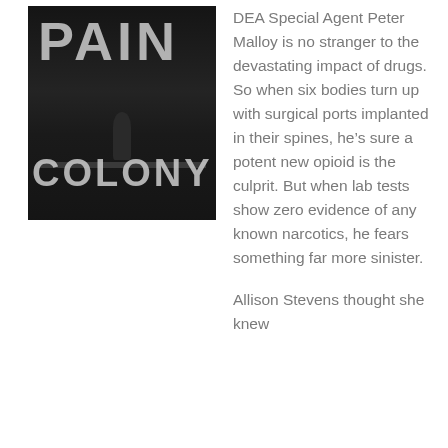[Figure (illustration): Book cover for 'Pain Colony' — dark, moody cover with large bold text 'PAIN' at top and 'COLONY' near bottom, with a lone figure silhouette standing in a dark corridor-like environment]
DEA Special Agent Peter Malloy is no stranger to the devastating impact of drugs. So when six bodies turn up with surgical ports implanted in their spines, he's sure a potent new opioid is the culprit. But when lab tests show zero evidence of any known narcotics, he fears something far more sinister.
Allison Stevens thought she knew